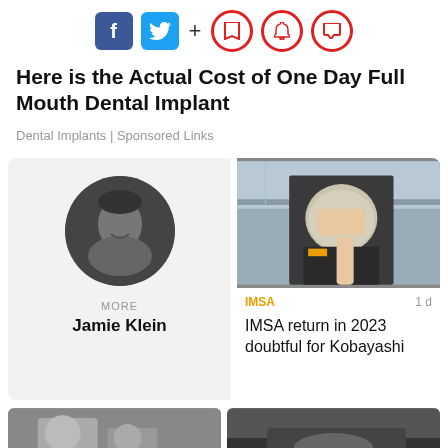[Figure (infographic): Social sharing icons row: Facebook (blue square), Twitter (blue square), plus sign, and three red circle icons (bookmark, bell, comment)]
Here is the Actual Cost of One Day Full Mouth Dental Implant
Dental Implants | Sponsored Links
[Figure (photo): Circular black-and-white portrait photo of Jamie Klein, a young man smiling]
MORE
Jamie Klein
[Figure (photo): Photo of racing driver Kamui Kobayashi in paddock gear holding a helmet, looking downward]
IMSA
1 d
IMSA return in 2023 doubtful for Kobayashi
[Figure (photo): Partial photo bottom left, two people visible]
[Figure (photo): Partial photo bottom right, dark car or vehicle]